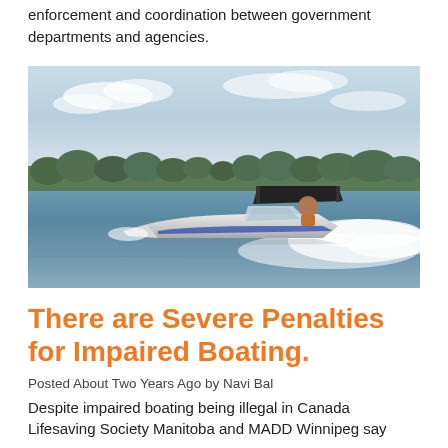enforcement and coordination between government departments and agencies.
[Figure (photo): A motorboat speeding across a calm lake with trees in the background and blue sky above, creating a large wake of white water spray.]
There are Severe Penalties for Impaired Boating.
Posted About Two Years Ago by Navi Bal
Despite impaired boating being illegal in Canada Lifesaving Society Manitoba and MADD Winnipeg say